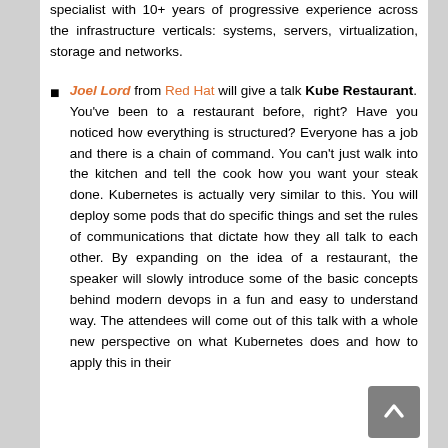specialist with 10+ years of progressive experience across the infrastructure verticals: systems, servers, virtualization, storage and networks.
Joel Lord from Red Hat will give a talk Kube Restaurant. You've been to a restaurant before, right? Have you noticed how everything is structured? Everyone has a job and there is a chain of command. You can't just walk into the kitchen and tell the cook how you want your steak done. Kubernetes is actually very similar to this. You will deploy some pods that do specific things and set the rules of communications that dictate how they all talk to each other. By expanding on the idea of a restaurant, the speaker will slowly introduce some of the basic concepts behind modern devops in a fun and easy to understand way. The attendees will come out of this talk with a whole new perspective on what Kubernetes does and how to apply this in their